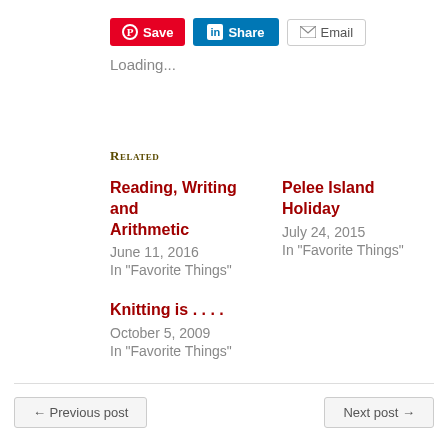[Figure (other): Social sharing buttons: Pinterest Save (red), LinkedIn Share (blue), Email (grey border)]
Loading...
Related
Reading, Writing and Arithmetic
June 11, 2016
In "Favorite Things"
Pelee Island Holiday
July 24, 2015
In "Favorite Things"
Knitting is . . . .
October 5, 2009
In "Favorite Things"
← Previous post    Next post →